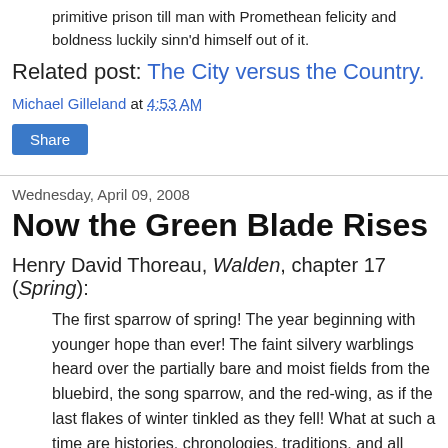primitive prison till man with Promethean felicity and boldness luckily sinn'd himself out of it.
Related post: The City versus the Country.
Michael Gilleland at 4:53 AM
Share
Wednesday, April 09, 2008
Now the Green Blade Rises
Henry David Thoreau, Walden, chapter 17 (Spring):
The first sparrow of spring! The year beginning with younger hope than ever! The faint silvery warblings heard over the partially bare and moist fields from the bluebird, the song sparrow, and the red-wing, as if the last flakes of winter tinkled as they fell! What at such a time are histories, chronologies, traditions, and all written revelations? The brooks sing carols and glees to the spring. The marsh hawk, sailing low over the meadow, is already seeking the